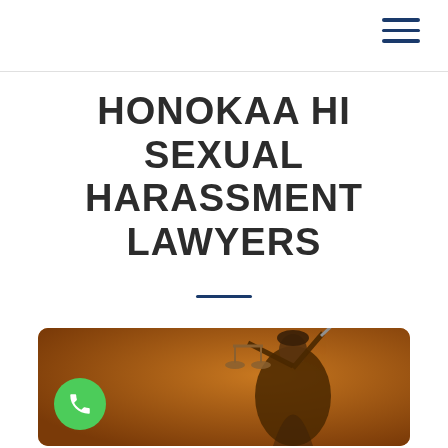Navigation header with hamburger menu
HONOKAA HI SEXUAL HARASSMENT LAWYERS
[Figure (photo): Lady Justice bronze statue holding scales and sword against an orange/amber background, with a green phone call button in the lower-left corner]